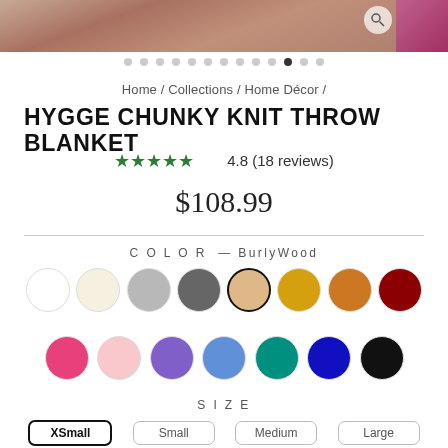[Figure (photo): Product image strip showing chunky knit throw blanket, with pink/red texture visible on right edge]
[Figure (other): Carousel navigation dots, 13 dots with 11th dot active/filled]
Home / Collections / Home Décor /
HYGGE CHUNKY KNIT THROW BLANKET
★★★★★ 4.8 (18 reviews)
$108.99
COLOR — BurlyWood
[Figure (other): Color swatches row 1: white, cream, light gray, dark gray, burlywood (selected), gold/yellow, orange, dark red]
[Figure (other): Color swatches row 2: hot pink, light pink, purple, cornflower blue, teal, dark blue, black]
SIZE
XSmall   Small   Medium   Large